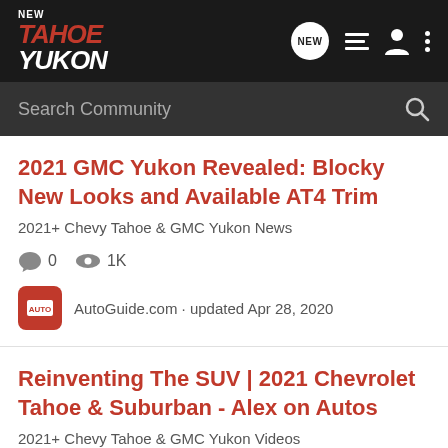NEW TahoeYukon
2021 GMC Yukon Revealed: Blocky New Looks and Available AT4 Trim
2021+ Chevy Tahoe & GMC Yukon News
0 comments · 1K views
AutoGuide.com · updated Apr 28, 2020
Reinventing The SUV | 2021 Chevrolet Tahoe & Suburban - Alex on Autos
2021+ Chevy Tahoe & GMC Yukon Videos
0 comments · 1K views
Canyonero · updated Aug 13, 2020